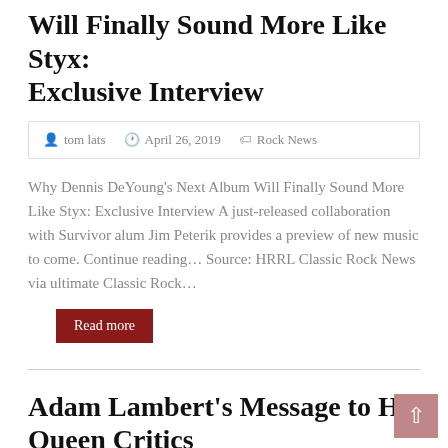Will Finally Sound More Like Styx: Exclusive Interview
tom lats  April 26, 2019  Rock News
Why Dennis DeYoung's Next Album Will Finally Sound More Like Styx: Exclusive Interview A just-released collaboration with Survivor alum Jim Peterik provides a preview of new music to come. Continue reading… Source: HRRL Classic Rock News via ultimate Classic Rock…
Read more
Adam Lambert's Message to His Queen Critics
tom lats  April 26, 2019  Rock News